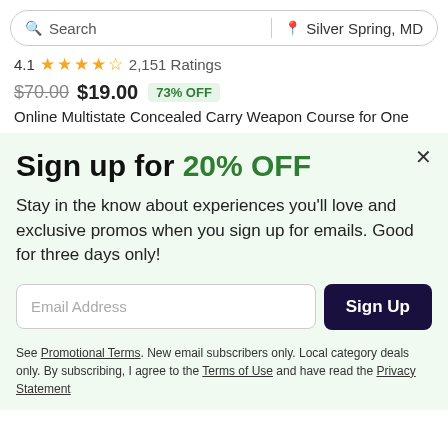Search | Silver Spring, MD
4.1 ★★★★½ 2,151 Ratings
$70.00 $19.00 73% OFF
Online Multistate Concealed Carry Weapon Course for One
Sign up for 20% OFF
Stay in the know about experiences you'll love and exclusive promos when you sign up for emails. Good for three days only!
Email Address  Sign Up
See Promotional Terms. New email subscribers only. Local category deals only. By subscribing, I agree to the Terms of Use and have read the Privacy Statement